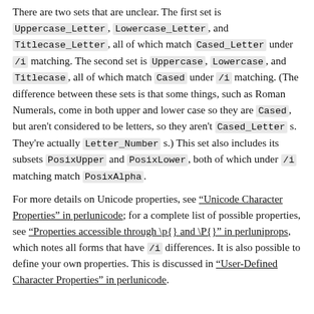There are two sets that are unclear. The first set is Uppercase_Letter, Lowercase_Letter, and Titlecase_Letter, all of which match Cased_Letter under /i matching. The second set is Uppercase, Lowercase, and Titlecase, all of which match Cased under /i matching. (The difference between these sets is that some things, such as Roman Numerals, come in both upper and lower case so they are Cased, but aren't considered to be letters, so they aren't Cased_Letter s. They're actually Letter_Number s.) This set also includes its subsets PosixUpper and PosixLower, both of which under /i matching match PosixAlpha.
For more details on Unicode properties, see "Unicode Character Properties" in perlunicode; for a complete list of possible properties, see "Properties accessible through \p{} and \P{}" in perluniprops, which notes all forms that have /i differences. It is also possible to define your own properties. This is discussed in "User-Defined Character Properties" in perlunicode.